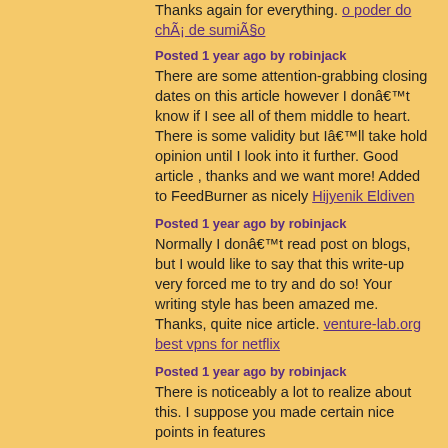Thanks again for everything. o poder do chÃ¡ de sumiÃ§o
Posted 1 year ago by robinjack
There are some attention-grabbing closing dates on this article however I donâ€™t know if I see all of them middle to heart. There is some validity but Iâ€™ll take hold opinion until I look into it further. Good article , thanks and we want more! Added to FeedBurner as nicely Hijyenik Eldiven
Posted 1 year ago by robinjack
Normally I donâ€™t read post on blogs, but I would like to say that this write-up very forced me to try and do so! Your writing style has been amazed me. Thanks, quite nice article. venture-lab.org best vpns for netflix
Posted 1 year ago by robinjack
There is noticeably a lot to realize about this. I suppose you made certain nice points in features